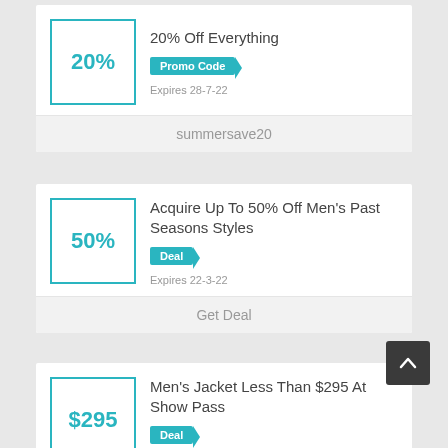20% Off Everything
Promo Code
Expires 28-7-22
summersave20
Acquire Up To 50% Off Men's Past Seasons Styles
Deal
Expires 22-3-22
Get Deal
Men's Jacket Less Than $295 At Show Pass
Deal
Expires 22-3-22
Get Deal